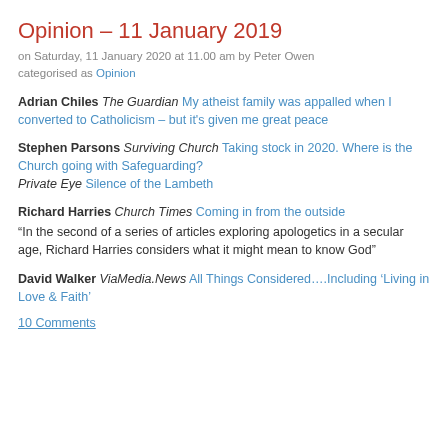Opinion – 11 January 2019
on Saturday, 11 January 2020 at 11.00 am by Peter Owen
categorised as Opinion
Adrian Chiles The Guardian My atheist family was appalled when I converted to Catholicism – but it's given me great peace
Stephen Parsons Surviving Church Taking stock in 2020. Where is the Church going with Safeguarding?
Private Eye Silence of the Lambeth
Richard Harries Church Times Coming in from the outside
"In the second of a series of articles exploring apologetics in a secular age, Richard Harries considers what it might mean to know God"
David Walker ViaMedia.News All Things Considered….Including 'Living in Love & Faith'
10 Comments